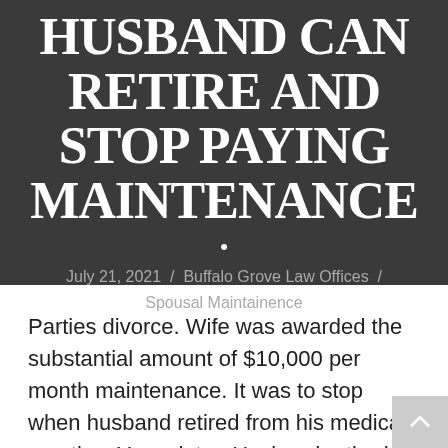HUSBAND CAN RETIRE AND STOP PAYING MAINTENANCE
July 21, 2021 / Buffalo Grove Law Offices / Spousal Maintainence
Parties divorce. Wife was awarded the substantial amount of $10,000 per month maintenance. It was to stop when husband retired from his medical practice. Years later, Husband retired and stopped paying maintenance.